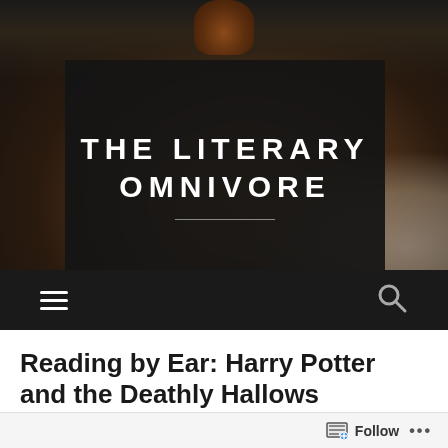[Figure (screenshot): Blog header hero image showing a dark food photo with a dark overlay banner. The background shows a blurred food item (appears to be a fig or pastry on a white plate) with dark bokeh. Centered is a dark rectangular banner containing the blog title 'THE LITERARY OMNIVORE' in white bold uppercase letters with a horizontal divider line below.]
THE LITERARY OMNIVORE
[Figure (screenshot): Navigation bar with hamburger menu icon (three horizontal lines) on the left and a search/magnifying glass icon on the right, on a dark background.]
Reading by Ear: Harry Potter and the Deathly Hallows
Follow ...